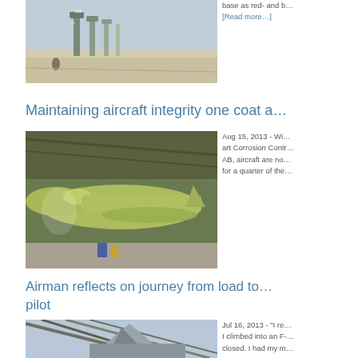[Figure (photo): Row of F-16 fighter jets lined up on an airbase tarmac with AZ tail codes, a person crouching near the aircraft]
base as red- and b… [Read more...]
Maintaining aircraft integrity one coat a…
[Figure (photo): Aircraft in a hangar coated in yellow-green primer/paint, viewed from the side, showing the fuselage and wings]
Aug 15, 2013 - Wi… art Corrosion Contr… AB, aircraft are no… for a quarter of the…
Airman reflects on journey from load to pilot
[Figure (photo): Aircraft tail section visible under structural canopy/framework, angled view]
Jul 16, 2013 - "I re… I climbed into an F-… closed. I had my m…